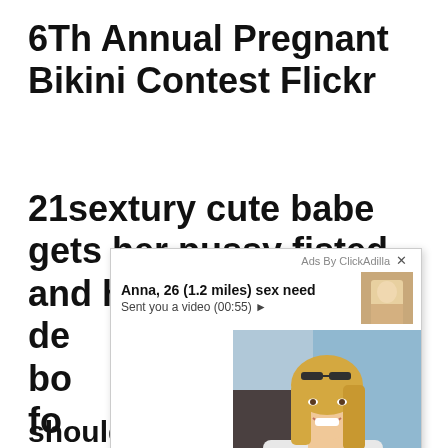6Th Annual Pregnant Bikini Contest Flickr
21sextury cute babe gets her pussy fisted and her ass de bo rs fo se he mi
[Figure (screenshot): Ad overlay popup from ClickAdilla showing a woman named Anna, 26 (1.2 miles) sex need, with a video notification and a photo of a blonde woman in a car taking a selfie.]
shouldersmydirtypoppy - first